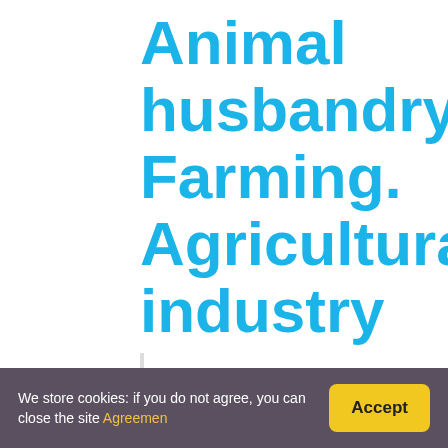Animal husbandry. Farming. Agricultural industry
Where is Houston Livestock Show and Ro
The Houston Livestock Show & Rodeo In 2021, the event
Jacob McDaniel   Livestock
We store cookies: if you do not agree, you can close the site Agreemen